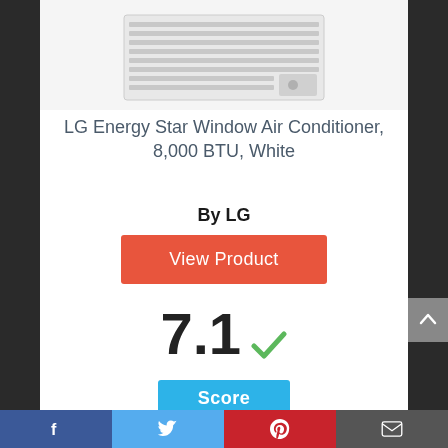[Figure (photo): LG window air conditioner unit, white, top portion of product image]
LG Energy Star Window Air Conditioner, 8,000 BTU, White
By LG
View Product
7.1 Score